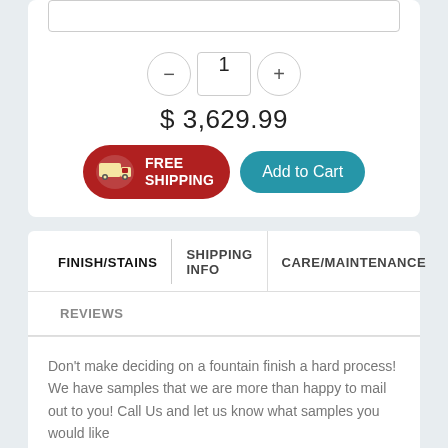1
$ 3,629.99
[Figure (illustration): Free Shipping badge with truck icon, red rounded rectangle button]
Add to Cart
FINISH/STAINS
SHIPPING INFO
CARE/MAINTENANCE
REVIEWS
Don't make deciding on a fountain finish a hard process! We have samples that we are more than happy to mail out to you! Call Us and let us know what samples you would like